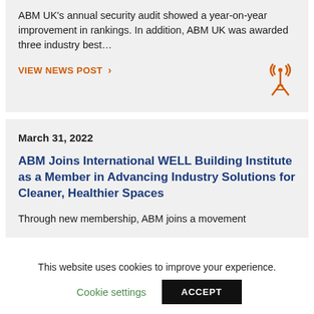ABM UK's annual security audit showed a year-on-year improvement in rankings. In addition, ABM UK was awarded three industry best…
VIEW NEWS POST >
March 31, 2022
ABM Joins International WELL Building Institute as a Member in Advancing Industry Solutions for Cleaner, Healthier Spaces
Through new membership, ABM joins a movement
This website uses cookies to improve your experience.
Cookie settings
ACCEPT